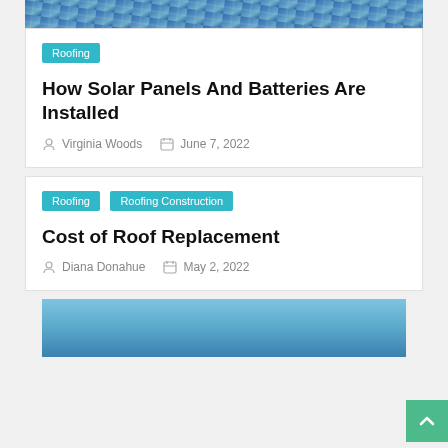[Figure (photo): Partial top view of solar panels on a roof, blue tones]
Roofing
How Solar Panels And Batteries Are Installed
Virginia Woods   June 7, 2022
Roofing   Roofing Construction
Cost of Roof Replacement
Diana Donahue   May 2, 2022
[Figure (photo): Blue sky photo, partial view at bottom of page]